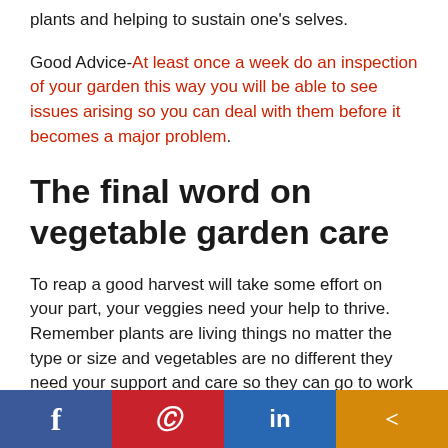plants and helping to sustain one's selves.
Good Advice-At least once a week do an inspection of your garden this way you will be able to see issues arising so you can deal with them before it becomes a major problem.
The final word on vegetable garden care
To reap a good harvest will take some effort on your part, your veggies need your help to thrive. Remember plants are living things no matter the type or size and vegetables are no different they need your support and care so they can go to work for you.
Social share bar: Facebook, Pinterest, LinkedIn, Share